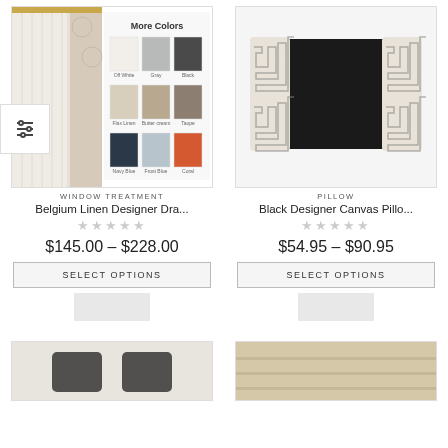[Figure (photo): Window treatment product image showing Belgium Linen Designer Drapery with 'More Colors' swatches grid]
[Figure (photo): Black designer canvas pillow with Greek key trim on sides]
WINDOW TREATMENT
Belgium Linen Designer Dra...
$145.00 – $228.00
SELECT OPTIONS
PILLOW
Black Designer Canvas Pillo...
$54.95 – $90.95
SELECT OPTIONS
[Figure (photo): Partial product image at bottom-left, partially visible]
[Figure (photo): Partial product image at bottom-right showing cream/tan fabric or textile]